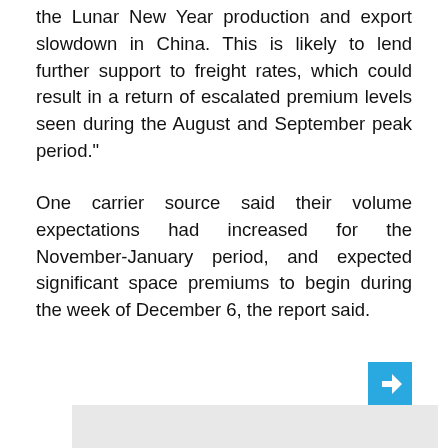the Lunar New Year production and export slowdown in China. This is likely to lend further support to freight rates, which could result in a return of escalated premium levels seen during the August and September peak period."
One carrier source said their volume expectations had increased for the November-January period, and expected significant space premiums to begin during the week of December 6, the report said.
[Figure (other): Share button (blue square with left-pointing arrow icon) and a gray advertisement placeholder box below it.]